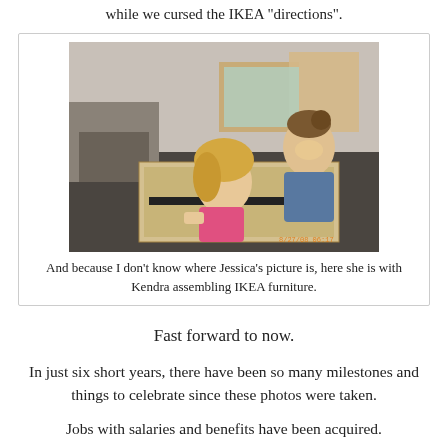while we cursed the IKEA "directions".
[Figure (photo): Two young women assembling IKEA furniture on the floor surrounded by cardboard boxes. One woman with blonde hair in a pink top is leaning into a wooden box/drawer unit, the other woman with dark hair pulled back in a blue hoodie is smiling at the camera. Date stamp visible in lower right corner.]
And because I don't know where Jessica's picture is, here she is with Kendra assembling IKEA furniture.
Fast forward to now.
In just six short years, there have been so many milestones and things to celebrate since these photos were taken.
Jobs with salaries and benefits have been acquired.